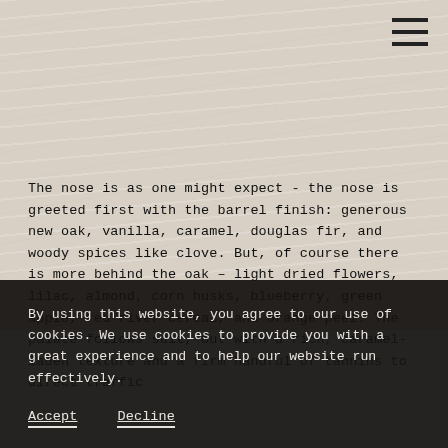[Figure (photo): Light wood grain textured background, whitish-gray tones]
The nose is as one might expect - the nose is greeted first with the barrel finish: generous new oak, vanilla, caramel, douglas fir, and woody spices like clove. But, of course there is more behind the oak – light dried flowers, lilac, almond, corn husks, blueberry, green apple, red river cereal, and orange peel. The palate follows suit, but with a rich, caramel-laden texture and a firm handful of tannins to direct traffic
By using this website, you agree to our use of cookies. We use cookies to provide you with a great experience and to help our website run effectively.
Accept   Decline